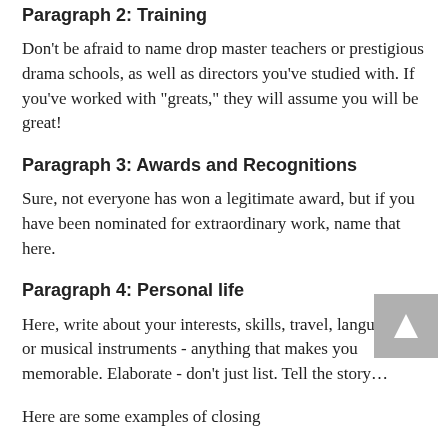Paragraph 2: Training
Don’t be afraid to name drop master teachers or prestigious drama schools, as well as directors you’ve studied with.  If you’ve worked with “greats,” they will assume you will be great!
Paragraph 3: Awards and Recognitions
Sure, not everyone has won a legitimate award, but if you have been nominated for extraordinary work, name that here.
Paragraph 4: Personal life
Here, write about your interests, skills, travel, languages, or musical instruments - anything that makes you memorable.  Elaborate -  don’t just list.  Tell the story…
Here are some examples of closing